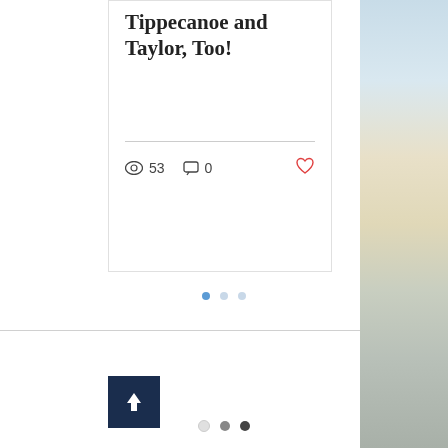Tippecanoe and Taylor, Too!
53 views  0 comments  Like
[Figure (screenshot): Pagination indicator with three dots, first dot blue, second and third light blue]
[Figure (screenshot): Pagination indicator with three dots, first empty/light, second medium grey, third dark grey]
[Figure (screenshot): Scroll to top button: dark navy square with white upward arrow]
[Figure (photo): Right side panel with a scenic landscape photo showing sky, water and snowy cityscape]